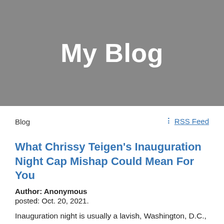My Blog
Blog
RSS Feed
What Chrissy Teigen's Inauguration Night Cap Mishap Could Mean For You
Author: Anonymous
posted: Oct. 20, 2021.
Inauguration night is usually a lavish, Washington, D.C., affair with hundreds attending inaugural balls throughout the city. And when you're an A-List